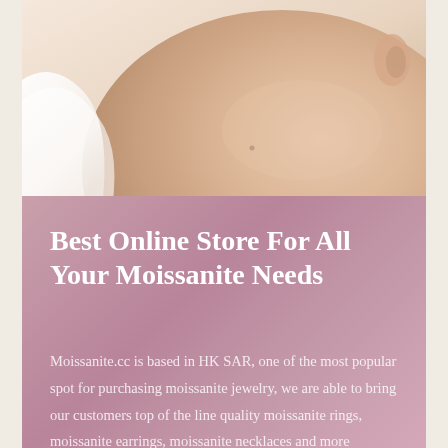[Figure (photo): Close-up photo of a person's neck and lower face/chin area, showing skin texture, with soft natural lighting and a blurred background]
Best Online Store For All Your Moissanite Needs
Moissanite.cc is based in HK SAR, one of the most popular spot for purchasing moissanite jewelry, we are able to bring our customers top of the line quality moissanite rings, moissanite earrings, moissanite necklaces and more moissanite fine jewelry with the most competative pricing on the market!